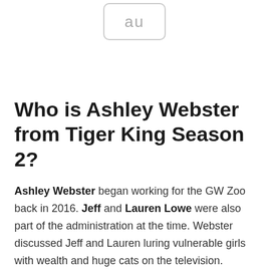[Figure (other): Partial view of an 'au' logo or advertisement placeholder box with rounded corners and gray text]
Who is Ashley Webster from Tiger King Season 2?
Ashley Webster began working for the GW Zoo back in 2016. Jeff and Lauren Lowe were also part of the administration at the time. Webster discussed Jeff and Lauren luring vulnerable girls with wealth and huge cats on the television.
Given her affinity for animals, one of her buddies forwarded her a link to GW's job advertisement. Ashley admitted to being foolish at the time